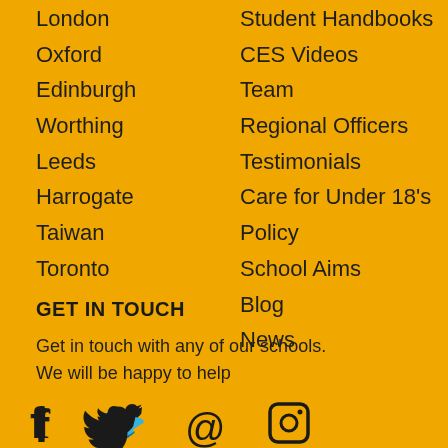London
Oxford
Edinburgh
Worthing
Leeds
Harrogate
Taiwan
Toronto
Student Handbooks
CES Videos
Team
Regional Officers
Testimonials
Care for Under 18's
Policy
School Aims
Blog
News
GET IN TOUCH
Get in touch with any of our schools.
We will be happy to help
[Figure (illustration): Social media icons: Facebook, Twitter, Email (@), Instagram]